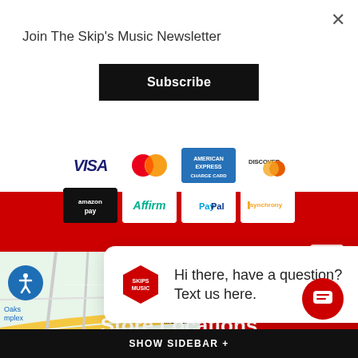×
Join The Skip's Music Newsletter
Subscribe
[Figure (screenshot): Payment method icons: VISA, Mastercard, American Express, Discover, Amazon Pay, Affirm, PayPal, Synchrony]
[Figure (screenshot): Accessibility icon button (blue circle with person symbol)]
close
Store Locations
[Figure (map): Google Maps partial view showing Sacramento area with markers for Sacramento Chrysler Dodge Jeep Ram, Maita Subaru, Ramada by Wyndham, Toyota, MORSE, EDISON]
Hi there, have a question? Text us here.
SHOW SIDEBAR +